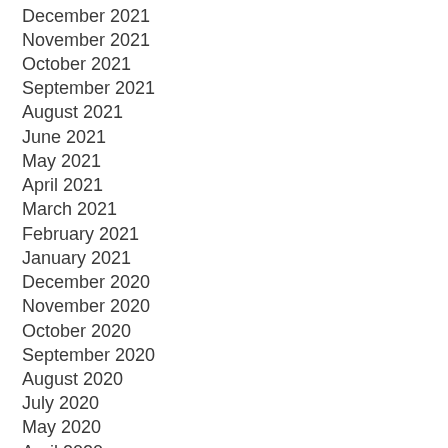December 2021
November 2021
October 2021
September 2021
August 2021
June 2021
May 2021
April 2021
March 2021
February 2021
January 2021
December 2020
November 2020
October 2020
September 2020
August 2020
July 2020
May 2020
April 2020
March 2020
February 2020